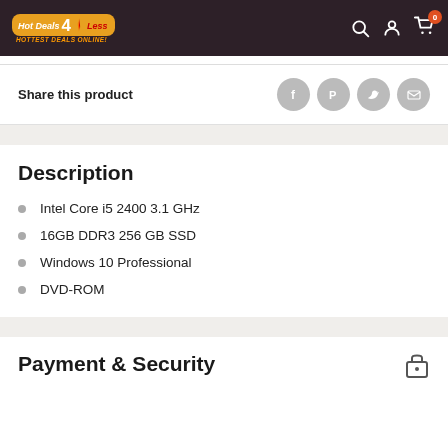Hot Deals 4 Less — HOTTEST DEALS ONLINE!
Share this product
Description
Intel Core i5 2400 3.1 GHz
16GB DDR3 256 GB SSD
Windows 10 Professional
DVD-ROM
Payment & Security